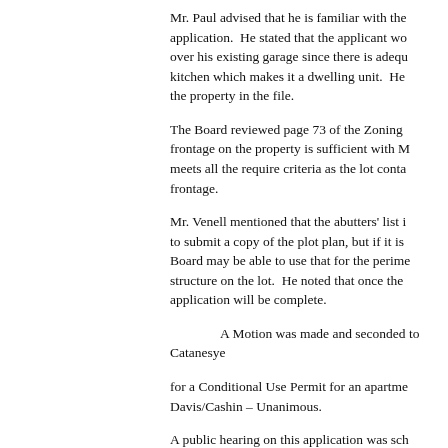Mr. Paul advised that he is familiar with the application. He stated that the applicant wo... over his existing garage since there is adequ... kitchen which makes it a dwelling unit. He the property in the file.
The Board reviewed page 73 of the Zoning ... frontage on the property is sufficient with M... meets all the require criteria as the lot conta... frontage.
Mr. Venell mentioned that the abutters' list i... to submit a copy of the plot plan, but if it is Board may be able to use that for the perime... structure on the lot. He noted that once the application will be complete.
A Motion was made and seconded to... Catanesye
for a Conditional Use Permit for an apartme... Davis/Cashin – Unanimous.
A public hearing on this application was sch... at 7:30 PM.
2.       Patrick Frasier – Proposed Division ...